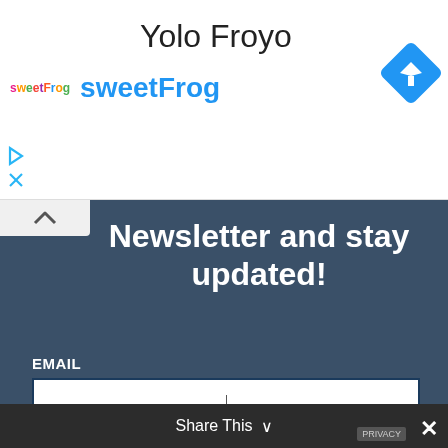Yolo Froyo
[Figure (logo): sweetFrog logo (small colorful text) followed by sweetFrog in large blue text, with a blue diamond map navigation pin icon on the right]
[Figure (infographic): Small play/triangle icon and X icon on left side of ad banner]
Newsletter and stay updated!
EMAIL
By continuing, you accept the privacy policy
SUBSCRIBE
Share This